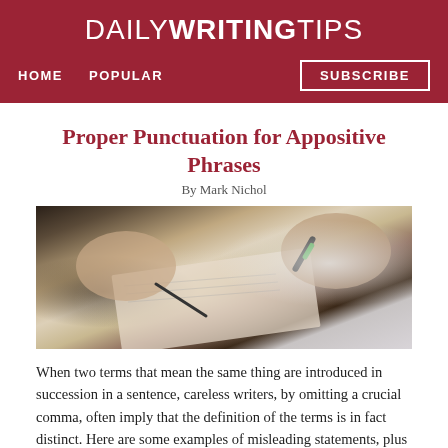DAILY WRITING TIPS
HOME   POPULAR   SUBSCRIBE
Proper Punctuation for Appositive Phrases
By Mark Nichol
[Figure (photo): Close-up photo of two hands writing in a notebook with pens]
When two terms that mean the same thing are introduced in succession in a sentence, careless writers, by omitting a crucial comma, often imply that the definition of the terms is in fact distinct. Here are some examples of misleading statements, plus discussions and revisions.
1. “Sunlight is a mixture of different colors or